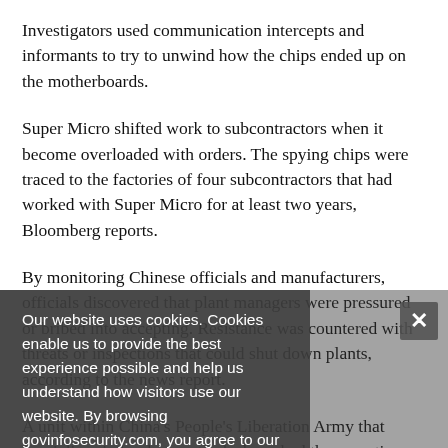Investigators used communication intercepts and informants to try to unwind how the chips ended up on the motherboards.
Super Micro shifted work to subcontractors when it become overloaded with orders. The spying chips were traced to the factories of four subcontractors that had worked with Super Micro for at least two years, Bloomberg reports.
By monitoring Chinese officials and manufacturers, officials discovered that plant managers were pressured or bribed into accepting. Resistance was countered with threats or inspections that could shut down plants, according to the news report.
A unit within China's People's Liberation Army that specializes in hardware attacks launched the operation,
[Figure (screenshot): Cookie consent overlay popup with dark semi-transparent background. Text reads: 'Our website uses cookies. Cookies enable us to provide the best experience possible and help us understand how visitors use our website. By browsing govinfosecurity.com, you agree to our use of cookies.' An X close button appears at top right of overlay.]